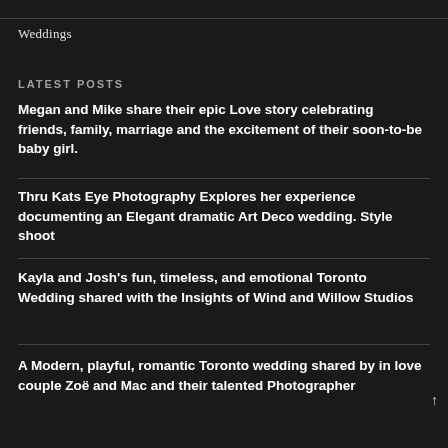Weddings
LATEST POSTS
Megan and Mike share their epic Love story celebrating friends, family, marriage and the excitement of their soon-to-be baby girl.
Thru Kats Eye Photography Explores her experience documenting an Elegant dramatic Art Deco wedding. Style shoot
Kayla and Josh's fun, timeless, and emotional Toronto Wedding shared with the Insights of Wind and Willow Studios
A Modern, playful, romantic Toronto wedding shared by in love couple Zoë and Mac and their talented Photographer